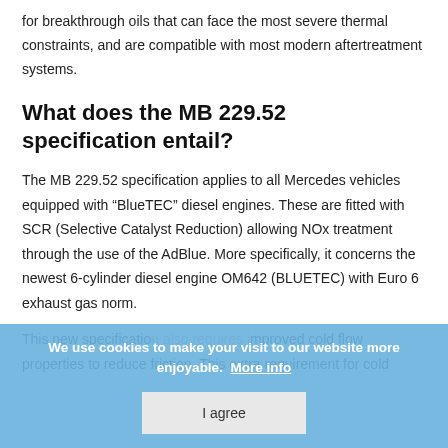Mercedes-Benz has developed the MB 229.52 specification for breakthrough oils that can face the most severe thermal constraints, and are compatible with most modern aftertreatment systems.
What does the MB 229.52 specification entail?
The MB 229.52 specification applies to all Mercedes vehicles equipped with “BlueTEC” diesel engines. These are fitted with SCR (Selective Catalyst Reduction) allowing NOx treatment through the use of the AdBlue. More specifically, it concerns the newest 6-cylinder diesel engine OM642 (BLUETEC) with Euro 6 exhaust gas norm.
This new specification also requires improved cold flow properties to reduce friction. This extra requirement for cold